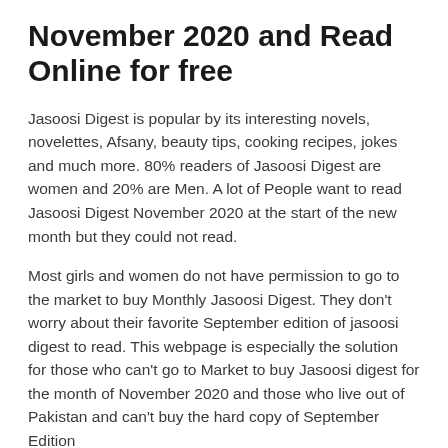November 2020 and Read Online for free
Jasoosi Digest is popular by its interesting novels, novelettes, Afsany, beauty tips, cooking recipes, jokes and much more. 80% readers of Jasoosi Digest are women and 20% are Men. A lot of People want to read Jasoosi Digest November 2020 at the start of the new month but they could not read.
Most girls and women do not have permission to go to the market to buy Monthly Jasoosi Digest. They don't worry about their favorite September edition of jasoosi digest to read. This webpage is especially the solution for those who can't go to Market to buy Jasoosi digest for the month of November 2020 and those who live out of Pakistan and can't buy the hard copy of September Edition